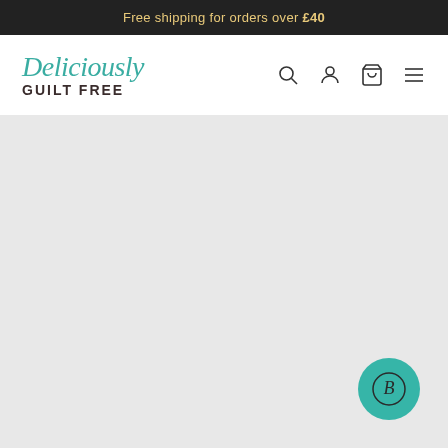Free shipping for orders over £40
[Figure (logo): Deliciously Guilt Free logo with teal script and dark brown bold text]
[Figure (illustration): Large light grey hero/product image area with a teal circular badge containing a stylized B letter in the bottom right corner]